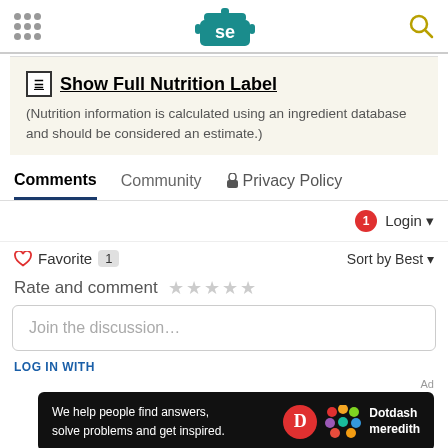Serious Eats logo header with navigation dots and search icon
Show Full Nutrition Label
(Nutrition information is calculated using an ingredient database and should be considered an estimate.)
Comments  Community  Privacy Policy
Login
Favorite 1  Sort by Best
Rate and comment
Join the discussion...
LOG IN WITH
[Figure (screenshot): Dotdash Meredith advertisement banner: 'We help people find answers, solve problems and get inspired.' with Dotdash Meredith logo on black background]